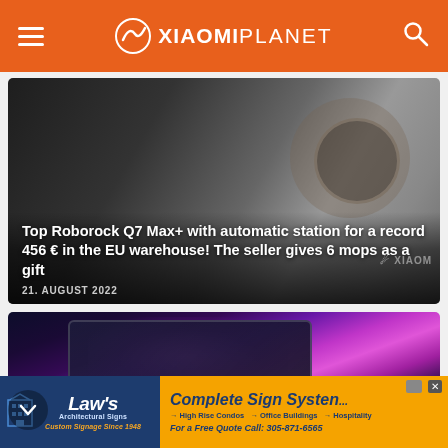XIAOMIPLANET
[Figure (photo): Article card with dark desk/table background - Roborock Q7 Max+ robot vacuum article]
Top Roborock Q7 Max+ with automatic station for a record 456 € in the EU warehouse! The seller gives 6 mops as a gift
21. AUGUST 2022
[Figure (photo): Article card with Xiaomi Mi Notebook Pro X 15 laptop showing vivid colorful display in dark room]
Available again after a year: Xiaomi Mi Notebook Pro X 15 is a crazy notebook with
[Figure (photo): Advertisement banner for Law's Architectural Signs - Complete Sign Systems]